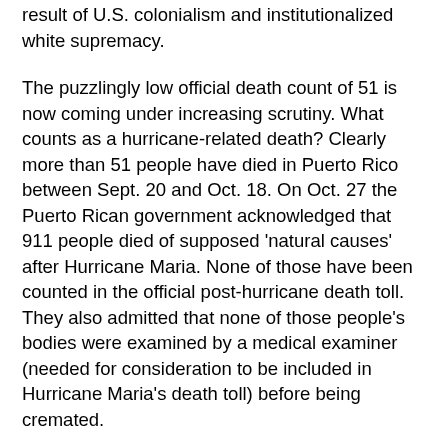result of U.S. colonialism and institutionalized white supremacy.
The puzzlingly low official death count of 51 is now coming under increasing scrutiny. What counts as a hurricane-related death? Clearly more than 51 people have died in Puerto Rico between Sept. 20 and Oct. 18. On Oct. 27 the Puerto Rican government acknowledged that 911 people died of supposed 'natural causes' after Hurricane Maria. None of those have been counted in the official post-hurricane death toll. They also admitted that none of those people's bodies were examined by a medical examiner (needed for consideration to be included in Hurricane Maria's death toll) before being cremated.
At the same time, Karixia Ortiz Serrano, a spokesperson for the Department of Public Safety, admitted that there are in fact no official criteria for what qualifies as a hurricane-rated death. This has caused inconsistencies in